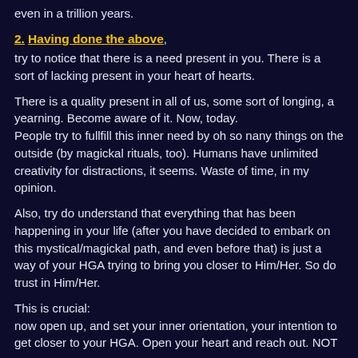even in a trillion years.
2. Having done the above,
try to notice that there is a need present in you. There is a sort of lacking present in your heart of hearts.
There is a quality present in all of us, some sort of longing, a yearning. Become aware of it. Now, today.
People try to fullfill this inner need by oh so nany things on the outside (by magickal rituals, too). Humans have unlimited creativity for distractions, it seems. Waste of time, in my opinion.
Also, try do understand that everything that has been happening in your life (after you have decided to embark on this mystical/magickal path, and even before that) is just a way of your HGA trying to bring you closer to Him/Her. So do trust in Him/Her.
This is crucial:
now open up, and set your inner orientation, your intention to get closer to your HGA. Open your heart and reach out. NOT